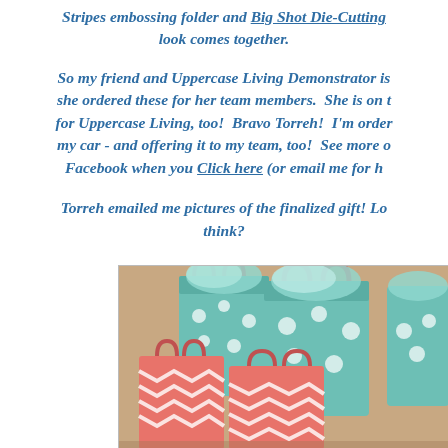Stripes embossing folder and Big Shot Die-Cutting look comes together.
So my friend and Uppercase Living Demonstrator is she ordered these for her team members.  She is on for Uppercase Living, too!  Bravo Torreh!  I'm order my car - and offering it to my team, too!  See more a Facebook when you Click here (or email me for h
Torreh emailed me pictures of the finalized gift! Lo think?
[Figure (photo): Photo of multiple teal/mint polka dot and coral/pink chevron gift bags with tissue paper spilling out of them, arranged together on a surface.]